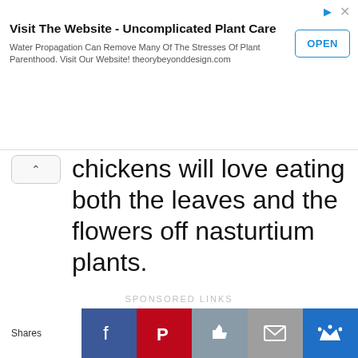[Figure (screenshot): Advertisement banner: 'Visit The Website - Uncomplicated Plant Care' with OPEN button and ad description about water propagation at theorybeyonddesign.com]
chickens will love eating both the leaves and the flowers off nasturtium plants.
SPONSORED LINKS
CONTINUE READING BELOW
Why does my magnolia tree have red berries?
Magnolia seed pods, which resemble exotic-looking cones, spread open to reveal bright
[Figure (screenshot): Social share bar with Shares label, Facebook, Pinterest, Like, Mail, and Crown buttons]